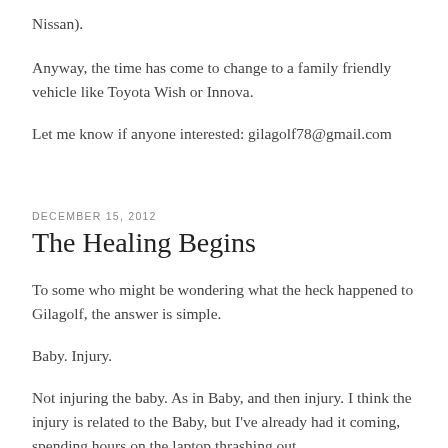Nissan).
Anyway, the time has come to change to a family friendly vehicle like Toyota Wish or Innova.
Let me know if anyone interested: gilagolf78@gmail.com
DECEMBER 15, 2012
The Healing Begins
To some who might be wondering what the heck happened to Gilagolf, the answer is simple.
Baby. Injury.
Not injuring the baby. As in Baby, and then injury. I think the injury is related to the Baby, but I've already had it coming, spending hours on the laptop thrashing out